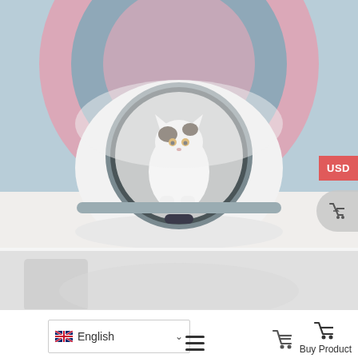[Figure (photo): A white spherical self-cleaning cat litter box with a circular opening, a cat (calico/white) standing inside it. Background has large pink and blue concentric circles on a light blue wall. A red 'USD' badge is in the top-right corner and a grey circle with a cart arrow on the right edge.]
[Figure (photo): Partial second product image showing the bottom portion of the same cat litter box product, mostly grey/white tones.]
[Figure (screenshot): Mobile app bottom navigation bar with home icon, hamburger menu icon, cart icon, buy product icon, and an English language selector with UK flag.]